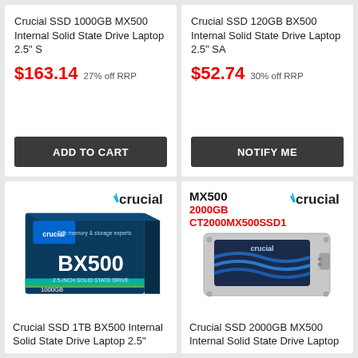Crucial SSD 1000GB MX500 Internal Solid State Drive Laptop 2.5" S
$163.14 27% off RRP
ADD TO CART
Crucial SSD 120GB BX500 Internal Solid State Drive Laptop 2.5" SA
$52.74 30% off RRP
NOTIFY ME
[Figure (photo): Crucial BX500 1000GB SSD product box with crucial logo]
Crucial SSD 1TB BX500 Internal Solid State Drive Laptop 2.5"
[Figure (photo): Crucial MX500 2000GB CT2000MX500SSD1 SSD drive with crucial logo]
Crucial SSD 2000GB MX500 Internal Solid State Drive Laptop